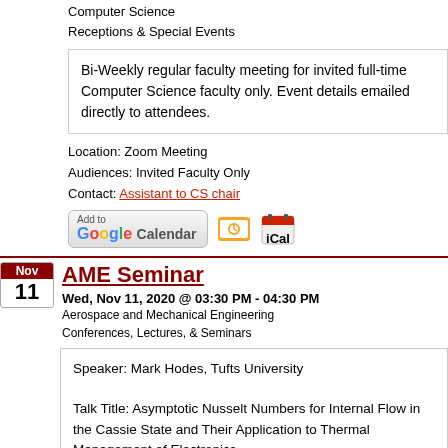Computer Science
Receptions & Special Events
Bi-Weekly regular faculty meeting for invited full-time Computer Science faculty only. Event details emailed directly to attendees.
Location: Zoom Meeting
Audiences: Invited Faculty Only
Contact: Assistant to CS chair
[Figure (other): Add to Google Calendar button and iCal icon buttons]
AME Seminar
Wed, Nov 11, 2020 @ 03:30 PM - 04:30 PM
Aerospace and Mechanical Engineering
Conferences, Lectures, & Seminars
Speaker: Mark Hodes, Tufts University

Talk Title: Asymptotic Nusselt Numbers for Internal Flow in the Cassie State and Their Application to Thermal Management of Electronics